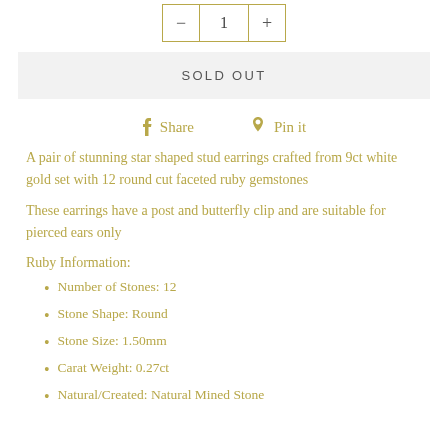[Figure (other): Quantity selector widget showing minus button, value 1, and plus button with gold border]
SOLD OUT
Share   Pin it
A pair of stunning star shaped stud earrings crafted from 9ct white gold set with 12 round cut faceted ruby gemstones
These earrings have a post and butterfly clip and are suitable for pierced ears only
Ruby Information:
Number of Stones: 12
Stone Shape: Round
Stone Size: 1.50mm
Carat Weight: 0.27ct
Natural/Created: Natural Mined Stone